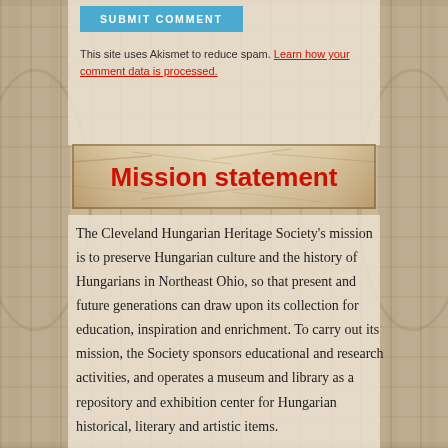SUBMIT COMMENT
This site uses Akismet to reduce spam. Learn how your comment data is processed.
[Figure (illustration): Decorative banner image with aged parchment/stone texture background for the Mission Statement heading]
Mission statement
The Cleveland Hungarian Heritage Society's mission is to preserve Hungarian culture and the history of Hungarians in Northeast Ohio, so that present and future generations can draw upon its collection for education, inspiration and enrichment. To carry out its mission, the Society sponsors educational and research activities, and operates a museum and library as a repository and exhibition center for Hungarian historical, literary and artistic items.